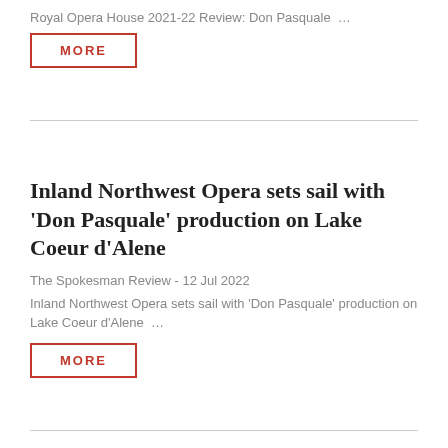Royal Opera House 2021-22 Review: Don Pasquale …
MORE
Inland Northwest Opera sets sail with 'Don Pasquale' production on Lake Coeur d'Alene
The Spokesman Review - 12 Jul 2022
Inland Northwest Opera sets sail with 'Don Pasquale' production on Lake Coeur d'Alene …
MORE
The week in classical: Don Pasquale; Holst's Sāvitri